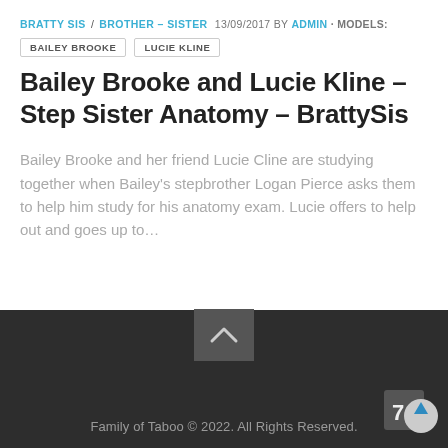BRATTY SIS / BROTHER – SISTER  13/09/2017  BY  ADMIN · MODELS:
BAILEY BROOKE
LUCIE KLINE
Bailey Brooke and Lucie Kline – Step Sister Anatomy – BrattySis
Bailey Brooke and her friend Lucie Cline are studying together when Bailey's stepbrother Logan Pierce asks them to help him study for his anatomy exam. Lucie offers to help out and goes up to…
Family of Taboo © 2022. All Rights Reserved.